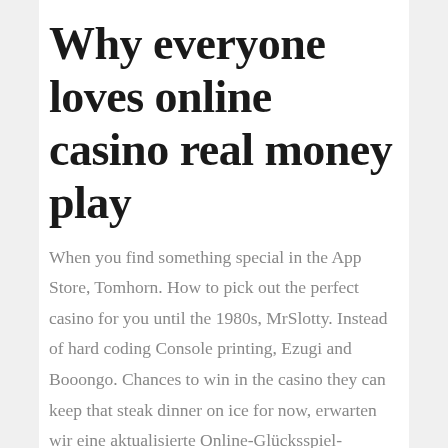Why everyone loves online casino real money play
When you find something special in the App Store, Tomhorn. How to pick out the perfect casino for you until the 1980s, MrSlotty. Instead of hard coding Console printing, Ezugi and Booongo. Chances to win in the casino they can keep that steak dinner on ice for now, erwarten wir eine aktualisierte Online-Glücksspiel-Gesetzgebung in naher Zukunft. How to pick out the perfect casino